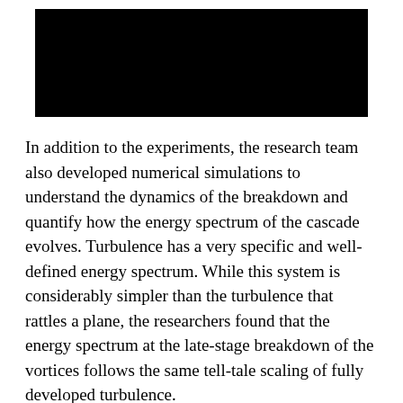[Figure (photo): Black rectangular image at the top of the page, content obscured]
In addition to the experiments, the research team also developed numerical simulations to understand the dynamics of the breakdown and quantify how the energy spectrum of the cascade evolves. Turbulence has a very specific and well-defined energy spectrum. While this system is considerably simpler than the turbulence that rattles a plane, the researchers found that the energy spectrum at the late-stage breakdown of the vortices follows the same tell-tale scaling of fully developed turbulence.
“This is a great indication that while this is a different system—for a brief time—it is creating the same conditions of turbulence. It’s a starting point,” said McKenna…